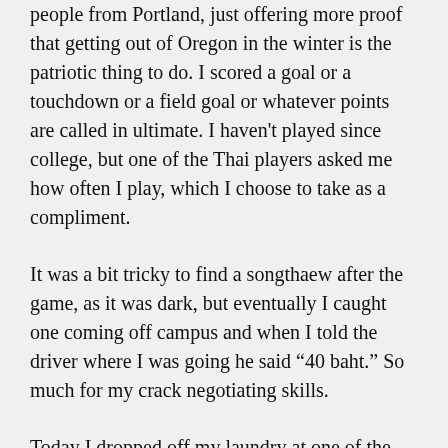people from Portland, just offering more proof that getting out of Oregon in the winter is the patriotic thing to do. I scored a goal or a touchdown or a field goal or whatever points are called in ultimate. I haven't played since college, but one of the Thai players asked me how often I play, which I choose to take as a compliment.
It was a bit tricky to find a songthaew after the game, as it was dark, but eventually I caught one coming off campus and when I told the driver where I was going he said “40 baht.” So much for my crack negotiating skills.
Today I dropped off my laundry at one of the twenty places that do laundry within a block of my apartment. I think